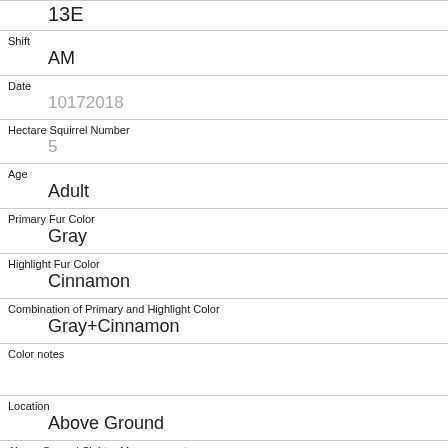13E
Shift
AM
Date
10172018
Hectare Squirrel Number
5
Age
Adult
Primary Fur Color
Gray
Highlight Fur Color
Cinnamon
Combination of Primary and Highlight Color
Gray+Cinnamon
Color notes
Location
Above Ground
Above Ground Sighter Measurement